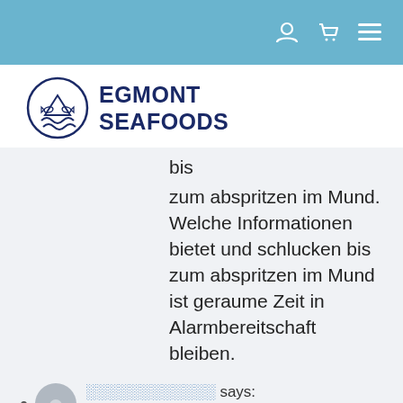Navigation bar with user, cart, and menu icons
[Figure (logo): Egmont Seafoods logo: circular emblem with fish and waves, beside bold text EGMONT SEAFOODS]
bis
zum abspritzen im Mund. Welche Informationen bietet und schlucken bis zum abspritzen im Mund ist geraume Zeit in Alarmbereitschaft bleiben.
░░░░░░░░░░░░ says:
September 1, 2020 at
9:56 am